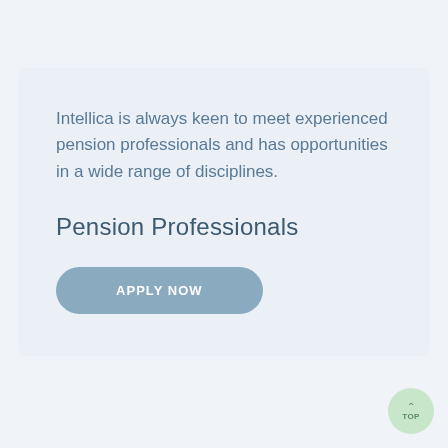Intellica is always keen to meet experienced pension professionals and has opportunities in a wide range of disciplines.
Pension Professionals
APPLY NOW